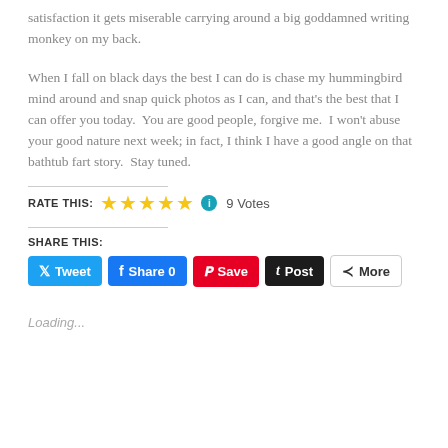satisfaction it gets miserable carrying around a big goddamned writing monkey on my back.
When I fall on black days the best I can do is chase my hummingbird mind around and snap quick photos as I can, and that's the best that I can offer you today.  You are good people, forgive me.  I won't abuse your good nature next week; in fact, I think I have a good angle on that bathtub fart story.  Stay tuned.
RATE THIS: ★★★★★ ℹ 9 Votes
SHARE THIS:
Tweet  Share 0  Save  Post  More
Loading...